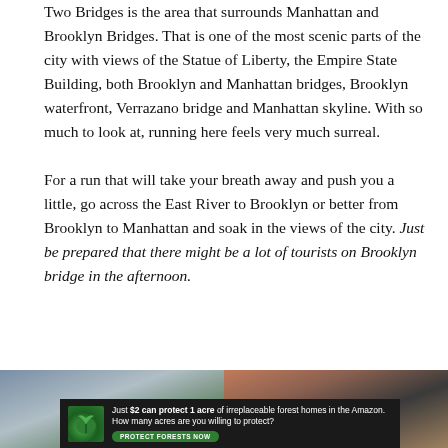Two Bridges is the area that surrounds Manhattan and Brooklyn Bridges. That is one of the most scenic parts of the city with views of the Statue of Liberty, the Empire State Building, both Brooklyn and Manhattan bridges, Brooklyn waterfront, Verrazano bridge and Manhattan skyline. With so much to look at, running here feels very much surreal.
For a run that will take your breath away and push you a little, go across the East River to Brooklyn or better from Brooklyn to Manhattan and soak in the views of the city. Just be prepared that there might be a lot of tourists on Brooklyn bridge in the afternoon.
[Figure (photo): Two side-by-side photos: left shows a bridge with city skyline and green foliage; right shows bridge cables at sunset/dusk with warm tones.]
[Figure (infographic): Advertisement banner: dark background with green leaf/plant icon on left. Text reads 'Just $2 can protect 1 acre of irreplaceable forest homes in the Amazon. How many acres are you willing to protect?' with a green 'PROTECT FORESTS NOW' button.]